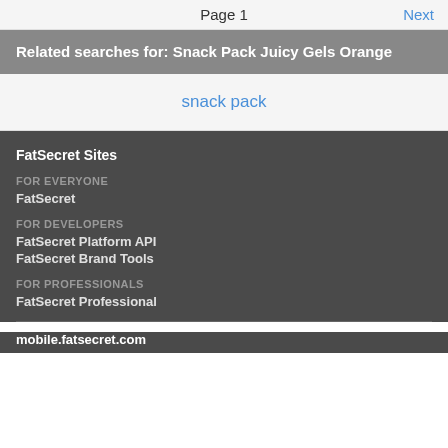Page 1   Next
Related searches for: Snack Pack Juicy Gels Orange
snack pack
FatSecret Sites
FOR EVERYONE
FatSecret
FOR DEVELOPERS
FatSecret Platform API
FatSecret Brand Tools
FOR PROFESSIONALS
FatSecret Professional
mobile.fatsecret.com